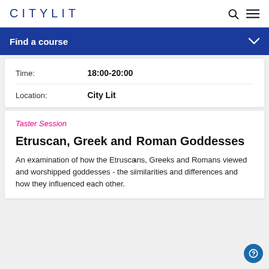CITYLIT
Find a course
| Time: | 18:00-20:00 |
| Location: | City Lit |
Taster Session
Etruscan, Greek and Roman Goddesses
An examination of how the Etruscans, Greeks and Romans viewed and worshipped goddesses - the similarities and differences and how they influenced each other.